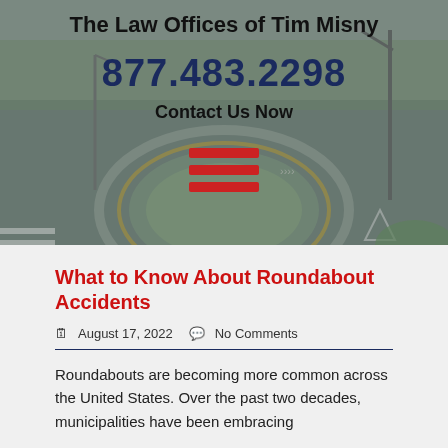[Figure (photo): Aerial view of a roundabout intersection with paved roads, white lane markings, a central circular island, surrounding trees, and a grass area. Slightly desaturated/muted tones.]
The Law Offices of Tim Misny
877.483.2298
Contact Us Now
[Figure (other): Hamburger menu icon — three horizontal red bars]
What to Know About Roundabout Accidents
August 17, 2022    No Comments
Roundabouts are becoming more common across the United States. Over the past two decades, municipalities have been embracing